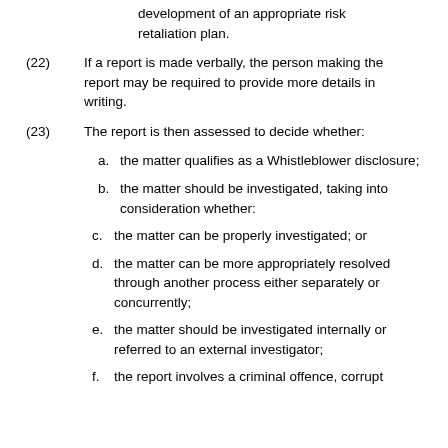development of an appropriate risk retaliation plan.
(22)   If a report is made verbally, the person making the report may be required to provide more details in writing.
(23)   The report is then assessed to decide whether:
a. the matter qualifies as a Whistleblower disclosure;
b. the matter should be investigated, taking into consideration whether:
c. the matter can be properly investigated; or
d. the matter can be more appropriately resolved through another process either separately or concurrently;
e. the matter should be investigated internally or referred to an external investigator;
f. the report involves a criminal offence, corrupt